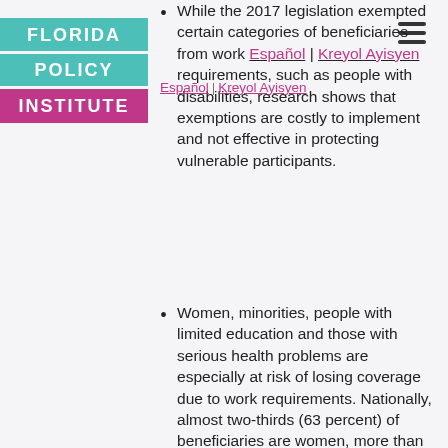[Figure (logo): Florida Policy Institute logo with teal and magenta blocks]
While the 2017 legislation exempted certain categories of beneficiaries from work requirements, such as people with disabilities, research shows that exemptions are costly to implement and not effective in protecting vulnerable participants.
Women, minorities, people with limited education and those with serious health problems are especially at risk of losing coverage due to work requirements. Nationally, almost two-thirds (63 percent) of beneficiaries are women, more than 50 percent are minorities and roughly 30 percent lack a high school